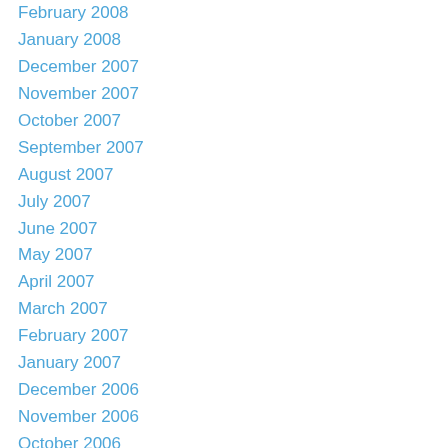February 2008
January 2008
December 2007
November 2007
October 2007
September 2007
August 2007
July 2007
June 2007
May 2007
April 2007
March 2007
February 2007
January 2007
December 2006
November 2006
October 2006
September 2006
August 2006
July 2006